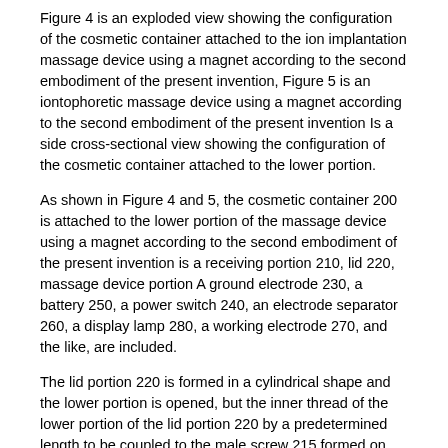Figure 4 is an exploded view showing the configuration of the cosmetic container attached to the ion implantation massage device using a magnet according to the second embodiment of the present invention, Figure 5 is an iontophoretic massage device using a magnet according to the second embodiment of the present invention Is a side cross-sectional view showing the configuration of the cosmetic container attached to the lower portion.
As shown in Figure 4 and 5, the cosmetic container 200 is attached to the lower portion of the massage device using a magnet according to the second embodiment of the present invention is a receiving portion 210, lid 220, massage device portion A ground electrode 230, a battery 250, a power switch 240, an electrode separator 260, a display lamp 280, a working electrode 270, and the like, are included.
The lid portion 220 is formed in a cylindrical shape and the lower portion is opened, but the inner thread of the lower portion of the lid portion 220 by a predetermined length to be coupled to the male screw 215 formed on the upper portion of the receiving portion 200, for the